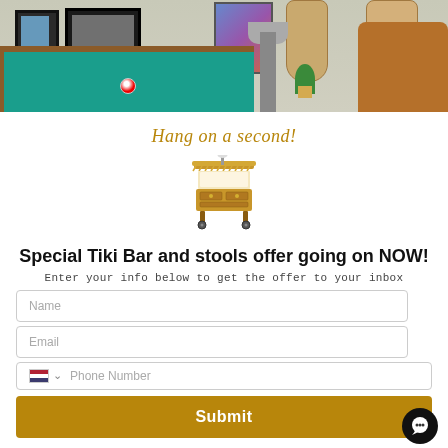[Figure (photo): Interior room photo showing a pool table with green felt, framed pictures on wall, guitars hanging on wall, leather chair, floor lamp, and plant.]
Hang on a second!
[Figure (illustration): Illustrated tiki bar cart in gold/yellow tones]
Special Tiki Bar and stools offer going on NOW!
Enter your info below to get the offer to your inbox
Name
Email
Phone Number
Submit